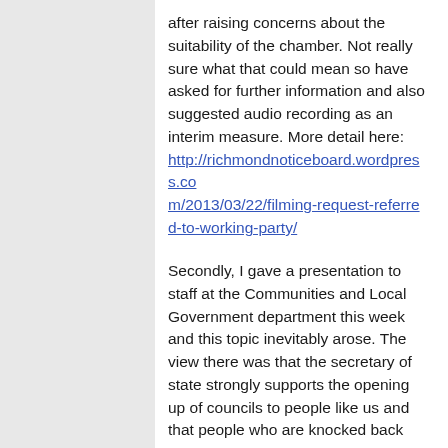after raising concerns about the suitability of the chamber. Not really sure what that could mean so have asked for further information and also suggested audio recording as an interim measure. More detail here: http://richmondnoticeboard.wordpress.com/2013/03/22/filming-request-referred-to-working-party/
Secondly, I gave a presentation to staff at the Communities and Local Government department this week and this topic inevitably arose. The view there was that the secretary of state strongly supports the opening up of councils to people like us and that people who are knocked back